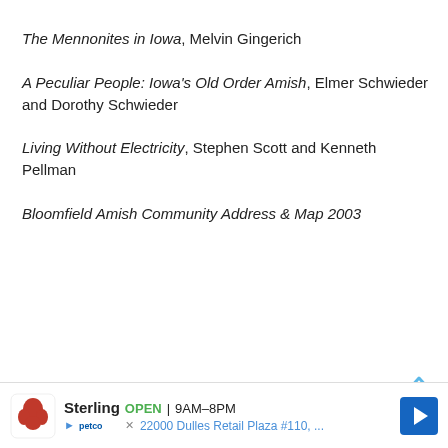The Mennonites in Iowa, Melvin Gingerich
A Peculiar People: Iowa's Old Order Amish, Elmer Schwieder and Dorothy Schwieder
Living Without Electricity, Stephen Scott and Kenneth Pellman
Bloomfield Amish Community Address & Map 2003
[Figure (screenshot): Petco advertisement banner: Sterling store open 9AM-8PM, 22000 Dulles Retail Plaza #110, with navigation arrow icon]